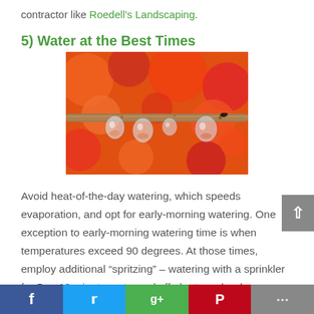contractor like Roedell's Landscaping.
5) Water at the Best Times
[Figure (photo): Close-up macro photo of water droplets hanging from a thin branch, with a blurred orange and red floral background.]
Avoid heat-of-the-day watering, which speeds evaporation, and opt for early-morning watering. One exception to early-morning watering time is when temperatures exceed 90 degrees. At those times, employ additional “spritzing” – watering with a sprinkler for 5 or 10 minutes – to cool off plants and reduce